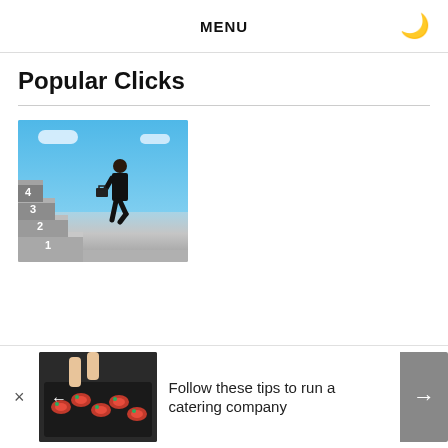MENU
Popular Clicks
[Figure (photo): Businessman in suit carrying briefcase climbing numbered steps (1,2,3,4) against a blue sky background]
[Figure (photo): Hands arranging catering appetizers on a dark tray]
Follow these tips to run a catering company